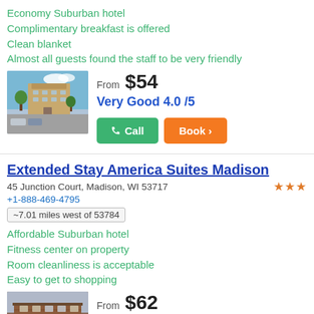Economy Suburban hotel
Complimentary breakfast is offered
Clean blanket
Almost all guests found the staff to be very friendly
[Figure (photo): Photo of a suburban hotel building with trees and parked cars]
From $54
Very Good 4.0 /5
Call | Book
Extended Stay America Suites Madison
45 Junction Court, Madison, WI 53717
+1-888-469-4795
~7.01 miles west of 53784
Affordable Suburban hotel
Fitness center on property
Room cleanliness is acceptable
Easy to get to shopping
[Figure (photo): Photo of a brick hotel building exterior]
From $62
Very Good 4.0 /5